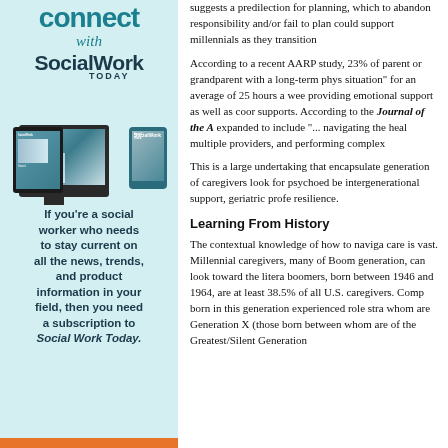[Figure (illustration): Social Work Today magazine advertisement showing tablet, monitor, and phone devices with magazine covers, on light blue background with 'Connect with Social Work Today' heading and promotional text]
suggests a predilection for planning, which to abandon responsibility and/or fail to plan could support millennials as they transition
According to a recent AARP study, 23% of parent or grandparent with a long-term phys situation" for an average of 25 hours a wee providing emotional support as well as coor supports. According to the Journal of the A expanded to include "... navigating the heal multiple providers, and performing complex
This is a large undertaking that encapsulate generation of caregivers look for psychoed be intergenerational support, geriatric profe resilience.
Learning From History
The contextual knowledge of how to naviga care is vast. Millennial caregivers, many of Boom generation, can look toward the litera boomers, born between 1946 and 1964, are at least 38.5% of all U.S. caregivers. Comp born in this generation experienced role stra whom are Generation X (those born between whom are of the Greatest/Silent Generation